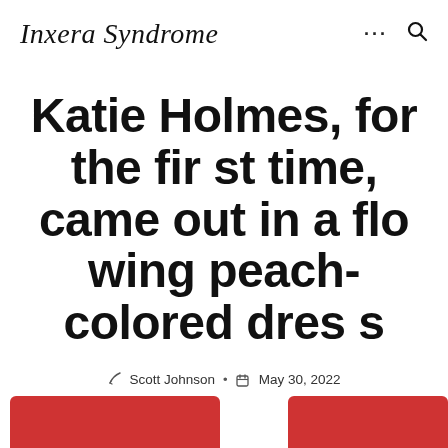Inxera Syndrome
Katie Holmes, for the first time, came out in a flowing peach-colored dress
Scott Johnson • May 30, 2022
[Figure (photo): Partial bottom image strip showing red-colored photo fragments, blurred at the bottom of the page]